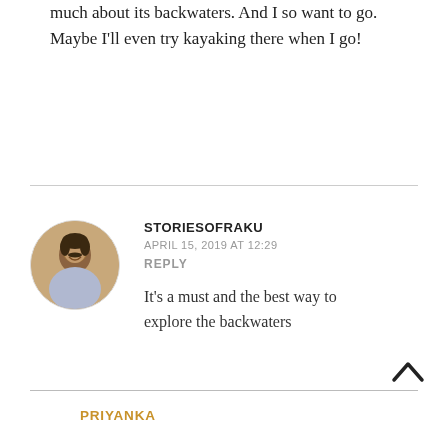much about its backwaters. And I so want to go. Maybe I'll even try kayaking there when I go!
STORIESOFRAKU
APRIL 15, 2019 AT 12:29
REPLY
It's a must and the best way to explore the backwaters
PRIYANKA